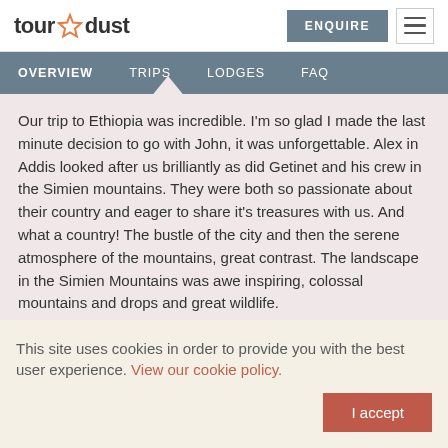tour dust | ENQUIRE
OVERVIEW  TRIPS  LODGES  FAQ
Our trip to Ethiopia was incredible. I'm so glad I made the last minute decision to go with John, it was unforgettable. Alex in Addis looked after us brilliantly as did Getinet and his crew in the Simien mountains. They were both so passionate about their country and eager to share it's treasures with us. And what a country! The bustle of the city and then the serene atmosphere of the mountains, great contrast. The landscape in the Simien Mountains was awe inspiring, colossal mountains and drops and great wildlife.
This site uses cookies in order to provide you with the best user experience. View our cookie policy. I accept